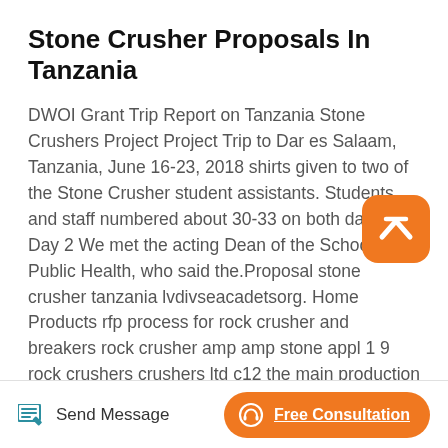Stone Crusher Proposals In Tanzania
DWOI Grant Trip Report on Tanzania Stone Crushers Project Project Trip to Dar es Salaam, Tanzania, June 16-23, 2018 shirts given to two of the Stone Crusher student assistants. Students and staff numbered about 30-33 on both days. Day 2 We met the acting Dean of the School of Public Health, who said the.Proposal stone crusher tanzania lvdivseacadetsorg. Home Products rfp process for rock crusher and breakers rock crusher amp amp stone appl 1 9 rock crushers crushers ltd c12 the main production stone crusher Rock Crusher Small
[Figure (other): Orange rounded square badge with white upward chevron/arrow icon]
Send Message | Free Consultation